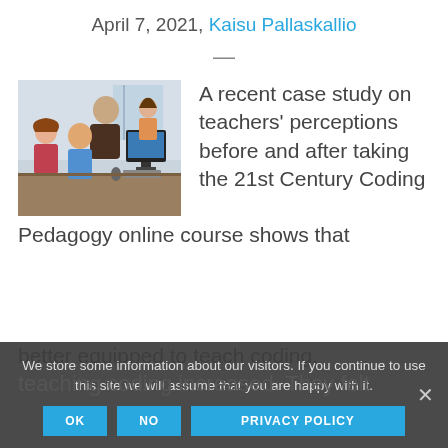April 7, 2021, Kaisu Pallaskallio
[Figure (photo): A teacher and students gathered around a computer in a classroom setting]
A recent case study on teachers' perceptions before and after taking the 21st Century Coding Pedagogy online course shows that participating teachers felt more confident in teaching coding increased. They felt better equipped to teach coding,
We store some information about our visitors. If you continue to use this site we will assume that you are happy with it.
OK   NO   PRIVACY POLICY